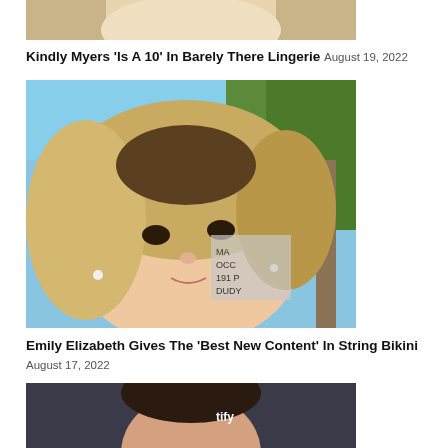[Figure (photo): Partial/cropped photo of Kindly Myers, only lower portion of face/hair visible]
Kindly Myers 'Is A 10' In Barely There Lingerie August 19, 2022
[Figure (photo): Photo of Emily Elizabeth, blonde woman taking a selfie outdoors with palm trees in background]
Emily Elizabeth Gives The 'Best New Content' In String Bikini August 17, 2022
[Figure (photo): Partial photo of a person at what appears to be a Spotify event, dark background]